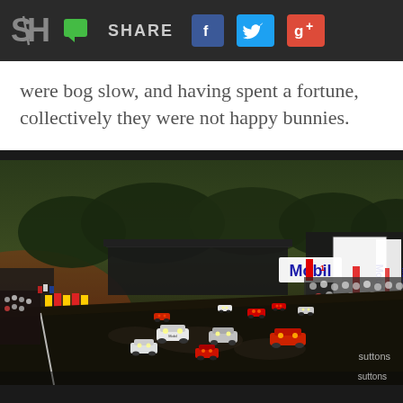SH | SHARE [social icons: Facebook, Twitter, Google+]
were bog slow, and having spent a fortune, collectively they were not happy bunnies.
[Figure (photo): Racing cars on a circuit at dusk/sunset, with Mobil 1 advertising boards visible on the right side of the track, spectators lining the barriers, and trees in the background. The image shows a pack of prototype and GT racing cars on what appears to be the Le Mans circuit start/finish straight. Watermark reads 'suttons' in bottom right.]